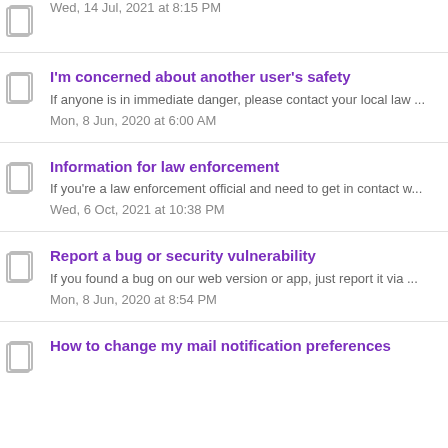Wed, 14 Jul, 2021 at 8:15 PM
I'm concerned about another user's safety
If anyone is in immediate danger, please contact your local law ...
Mon, 8 Jun, 2020 at 6:00 AM
Information for law enforcement
If you're a law enforcement official and need to get in contact w...
Wed, 6 Oct, 2021 at 10:38 PM
Report a bug or security vulnerability
If you found a bug on our web version or app, just report it via ...
Mon, 8 Jun, 2020 at 8:54 PM
How to change my mail notification preferences